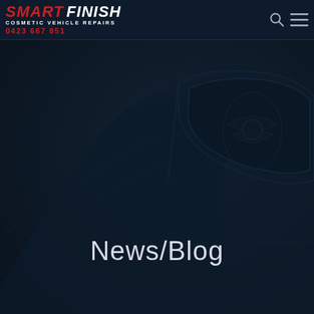SMART FINISH COSMETIC VEHICLE REPAIRS 0423 667 851
[Figure (photo): Dark navy blue background showing a car body panel with curved hood and door frame details, dimly lit for atmospheric effect]
News/Blog